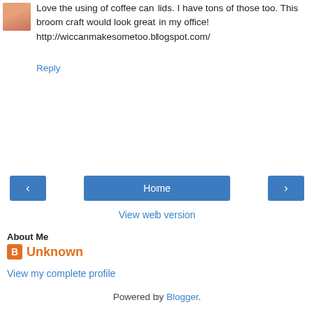[Figure (photo): Small avatar photo of a person]
Love the using of coffee can lids. I have tons of those too. This broom craft would look great in my office! http://wiccanmakesometoo.blogspot.com/
Reply
‹  Home  ›  View web version
About Me
Unknown
View my complete profile
Powered by Blogger.